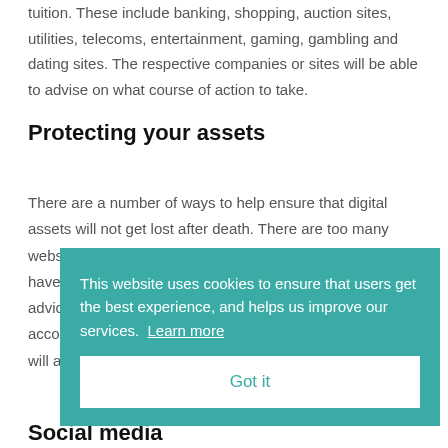tuition. These include banking, shopping, auction sites, utilities, telecoms, entertainment, gaming, gambling and dating sites. The respective companies or sites will be able to advise on what course of action to take.
Protecting your assets
There are a number of ways to help ensure that digital assets will not get lost after death. There are too many websites and online services to mention on this page, so we have advised on how to treat websites. Our overriding advice is to include your wishes regarding all or individual accounts – including login and other access details – in your will and lodging it securely with your solicitor.
This website uses cookies to ensure that users get the best experience, and helps us improve our services. Learn more Got it
Social media